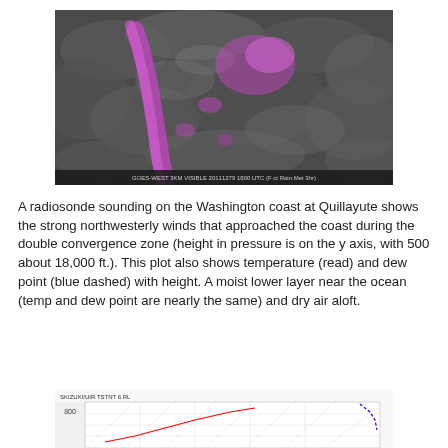[Figure (photo): Satellite image showing cloud patterns over Washington coast with purple/magenta highlighted convergence zones against dark gray cloud background. Caption text at bottom reads: GOES-WEST 3KM VISIBLE 20111279 1800 UTC (F ct Rain.Met 3hr)]
A radiosonde sounding on the Washington coast at Quillayute shows the strong northwesterly winds that approached the coast during the double convergence zone (height in pressure is on the y axis, with 500 about 18,000 ft.).  This plot also shows temperature (read) and dew point (blue dashed) with height.   A moist lower layer near the ocean (temp and dew point are nearly the same) and dry air aloft.
[Figure (continuous-plot): Radiosonde sounding chart (Skew-T or similar) showing temperature (red line) and dew point (blue dashed line) with height/pressure on the y axis. Small chart partially visible at the bottom of the page.]